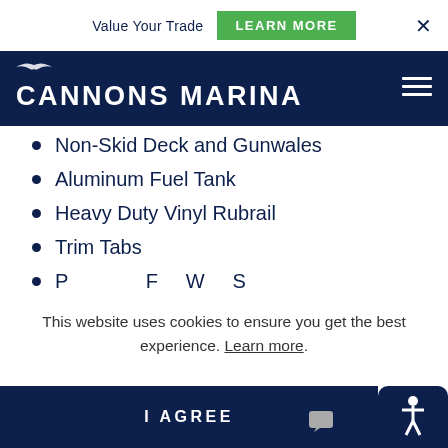Value Your Trade  LEARN MORE
[Figure (logo): Cannons Marina logo with seagull icon on dark navy background]
Non-Skid Deck and Gunwales
Aluminum Fuel Tank
Heavy Duty Vinyl Rubrail
Trim Tabs
Pressurized Fresh Water System (partially visible)
This website uses cookies to ensure you get the best experience. Learn more.
I AGREE